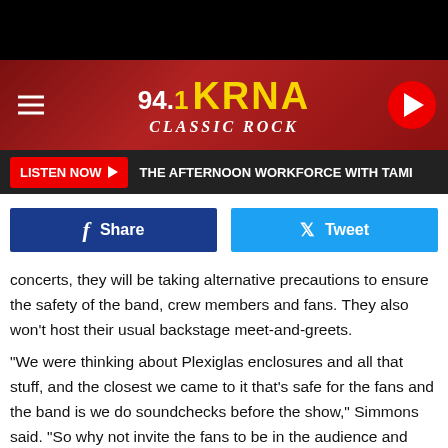[Figure (screenshot): 94.1 KRNA Classic Rock radio station header banner with logo, hamburger menu icon, and play button]
LISTEN NOW ▶  THE AFTERNOON WORKFORCE WITH TAMI
[Figure (infographic): Social share buttons: Facebook Share and Twitter Tweet]
concerts, they will be taking alternative precautions to ensure the safety of the band, crew members and fans. They also won't host their usual backstage meet-and-greets.
"We were thinking about Plexiglas enclosures and all that stuff, and the closest we came to it that's safe for the fans and the band is we do soundchecks before the show," Simmons said. "So why not invite the fans to be in the audience and answer questions, play tunes, just kind of hang